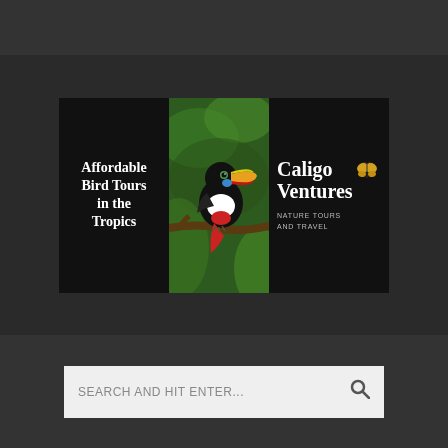[Figure (illustration): Advertisement banner for Caligo Ventures Nature Tours and Travel featuring text 'Affordable Bird Tours in the Tropics' on the left, a toucan bird perched on a branch in the center, and 'Caligo Ventures NATURE TOURS AND TRAVEL' with a butterfly logo on the right. Black background.]
SEARCH AND HIT ENTER...